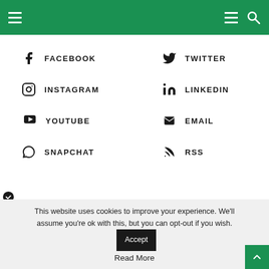Navigation header bar with hamburger menu and search icon
FACEBOOK
TWITTER
INSTAGRAM
LINKEDIN
YOUTUBE
EMAIL
SNAPCHAT
RSS
This website uses cookies to improve your experience. We'll assume you're ok with this, but you can opt-out if you wish.
Accept
Read More